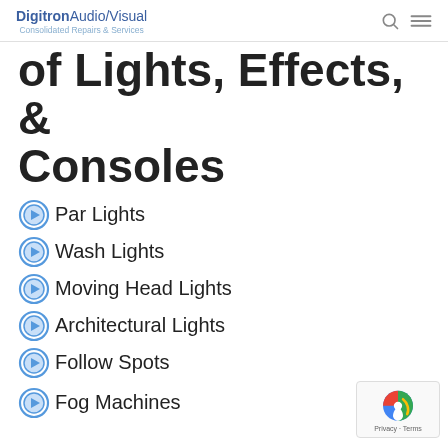DigitronAudio/Visual Consolidated Repairs & Services
of Lights, Effects, & Consoles
Par Lights
Wash Lights
Moving Head Lights
Architectural Lights
Follow Spots
Fog Machines